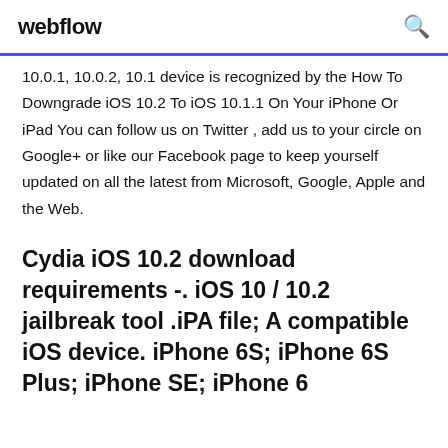webflow
10.0.1, 10.0.2, 10.1 device is recognized by the How To Downgrade iOS 10.2 To iOS 10.1.1 On Your iPhone Or iPad You can follow us on Twitter , add us to your circle on Google+ or like our Facebook page to keep yourself updated on all the latest from Microsoft, Google, Apple and the Web.
Cydia iOS 10.2 download requirements -. iOS 10 / 10.2 jailbreak tool .iPA file; A compatible iOS device. iPhone 6S; iPhone 6S Plus; iPhone SE; iPhone 6